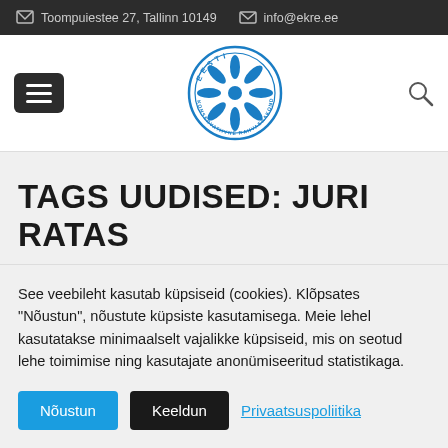Toompuiestee 27, Tallinn 10149   info@ekre.ee
[Figure (logo): EKRE – Eesti Konservatiivne Rahvaerakond circular blue logo with snowflake/cornflower emblem]
TAGS UUDISED: JURI RATAS
See veebileht kasutab küpsiseid (cookies). Klõpsates "Nõustun", nõustute küpsiste kasutamisega. Meie lehel kasutatakse minimaalselt vajalikke küpsiseid, mis on seotud lehe toimimise ning kasutajate anonümiseeritud statistikaga.
Nõustun   Keeldun   Privaatsuspoliitika